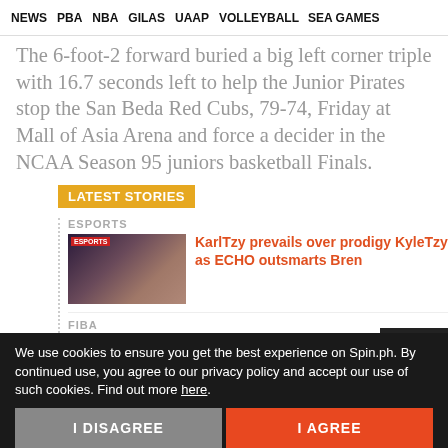NEWS | PBA | NBA | GILAS | UAAP | VOLLEYBALL | SEA GAMES
The 6-foot-2 forward buried a big left corner triple with 16.7 seconds left to help the Junior Pirates stop the San Beda Red Cubs, 79-74, Friday at Mall of Asia Arena and force a decider in the NCAA Season 95 juniors basketball Finals.
LATEST STORIES
ESPORTS
[Figure (photo): Esports players at event, with ESPORTS label overlay]
KarlTzy prevails over prodigy KyleTzy as ECHO outsmarts Bren
FIBA
[Figure (photo): Person's face partially visible]
As Chot clams up, SBP assures Gilas
We use cookies to ensure you get the best experience on Spin.ph. By continued use, you agree to our privacy policy and accept our use of such cookies. Find out more here.
I DISAGREE
I AGREE